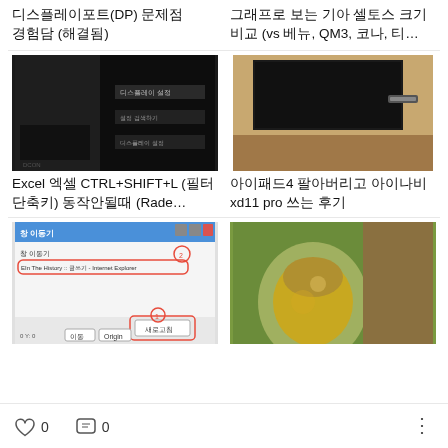[Figure (screenshot): Dark screen showing display settings menu]
디스플레이포트(DP) 문제점 경험담 (해결됨)
[Figure (photo): Photo of laptop/tablet corner on wooden surface]
그래프로 보는 기아 셀토스 크기 비교 (vs 베뉴, QM3, 코나, 티…
[Figure (screenshot): Excel screenshot dark background]
Excel 엑셀 CTRL+SHIFT+L (필터 단축키) 동작안될때 (Rade…
[Figure (photo): Photo of decorative jar/vase]
아이패드4 팔아버리고 아이나비 xd11 pro 쓰는 후기
[Figure (screenshot): Windows dialog box for 창 이동기 with Internet Explorer title, showing 새로고침 button circled]
[Figure (photo): Close-up photo of green/yellow decorative jar]
0
0